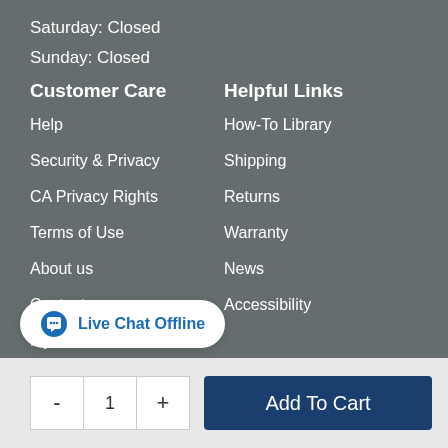Saturday: Closed
Sunday: Closed
Customer Care
Helpful Links
Help
How-To Library
Security & Privacy
Shipping
CA Privacy Rights
Returns
Terms of Use
Warranty
About us
News
Contact us
Accessibility
My Account
C...
Live Chat Offline
- 1 + Add To Cart